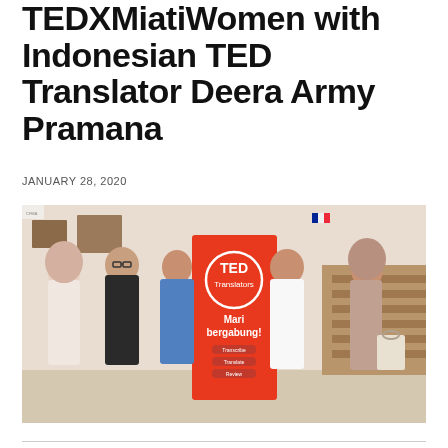TEDXMiatiWomen with Indonesian TED Translator Deera Army Pramana
JANUARY 28, 2020
[Figure (photo): Group photo of five people standing together in front of a TED Translators banner that reads 'Mari bergabung!' (Join us!) with options to Transcribe, Translate, Review. The photo is taken inside a building with stairs visible in the background.]